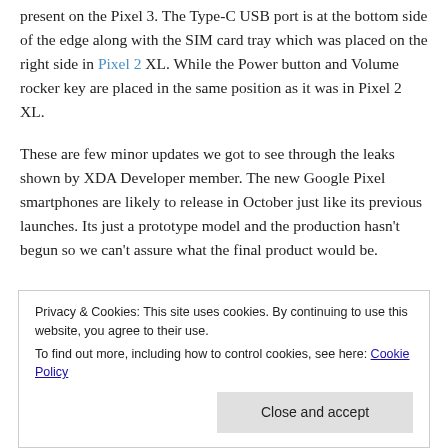present on the Pixel 3. The Type-C USB port is at the bottom side of the edge along with the SIM card tray which was placed on the right side in Pixel 2 XL. While the Power button and Volume rocker key are placed in the same position as it was in Pixel 2 XL.
These are few minor updates we got to see through the leaks shown by XDA Developer member. The new Google Pixel smartphones are likely to release in October just like its previous launches. Its just a prototype model and the production hasn't begun so we can't assure what the final product would be.
Privacy & Cookies: This site uses cookies. By continuing to use this website, you agree to their use. To find out more, including how to control cookies, see here: Cookie Policy